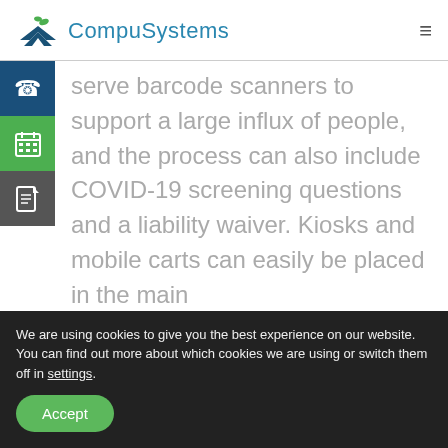CompuSystems
serve barcode scanners to support a large influx of people, and the process can also include COVID-19 screening questions and a liability waiver. Kiosks and mobile carts can easily be placed in the main
We are using cookies to give you the best experience on our website.
You can find out more about which cookies we are using or switch them off in settings.